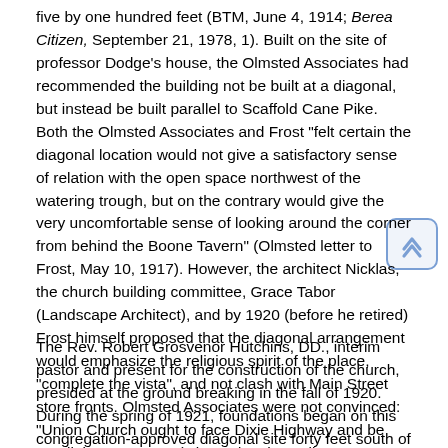five by one hundred feet (BTM, June 4, 1914; Berea Citizen, September 21, 1978, 1). Built on the site of professor Dodge's house, the Olmsted Associates had recommended the building not be built at a diagonal, but instead be built parallel to Scaffold Cane Pike. Both the Olmsted Associates and Frost "felt certain the diagonal location would not give a satisfactory sense of relation with the open space northwest of the watering trough, but on the contrary would give the very uncomfortable sense of looking around the corner from behind the Boone Tavern" (Olmsted letter to Frost, May 10, 1917). However, the architect Nicklas, the church building committee, Grace Tabor (Landscape Architect), and by 1920 (before he retired) Frost himself proposed that the diagonal arrangement would emphasize the religious spirit of the place, "complete the vista", and not clash with Main Street store fronts. Olmsted Associates were not convinced: "Union Church ought to face Dixie Highway and be parallel to Prospect" (Olmsted to the College's Business Manager, Howard Taylor, April 5, 1920).
The Rev. Robert Grosvenor Hutchins, DD., interim pastor and present for the construction of the church, presided at the ground breaking in the fall of 1920. During the spring of 1921, foundations began on this congregation-approved diagonal site forty feet south of Prospect Street (Olmsted to Howard Taylor, April 20, 1920; W. J. Hutchins letter to Garber, March 2, 1921). College President, William J. Hutchins, Robert Hutchins' son, delivered the dedication